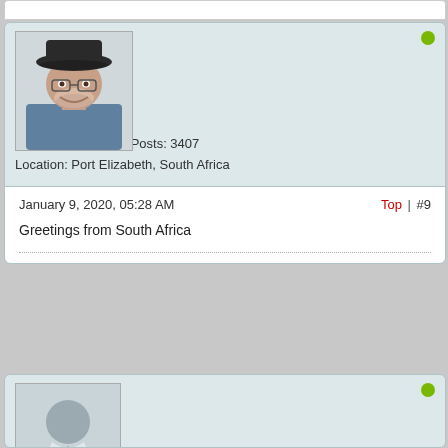[Figure (photo): Forum avatar photo of user holehogg wearing a dark hat, smiling]
holehogg
Club Member
Joined: Nov 2017    Posts: 3407
Location: Port Elizabeth, South Africa
January 9, 2020, 05:28 AM
Top | #9
Greetings from South Africa
[Figure (photo): Generic silhouette avatar for anonymous forum user]